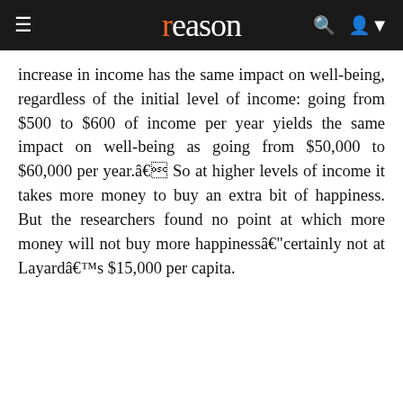reason
increase in income has the same impact on well-being, regardless of the initial level of income: going from $500 to $600 of income per year yields the same impact on well-being as going from $50,000 to $60,000 per year.â So at higher levels of income it takes more money to buy an extra bit of happiness. But the researchers found no point at which more money will not buy more happinessâ铎rtainly not at Layardâs $15,000 per capita.